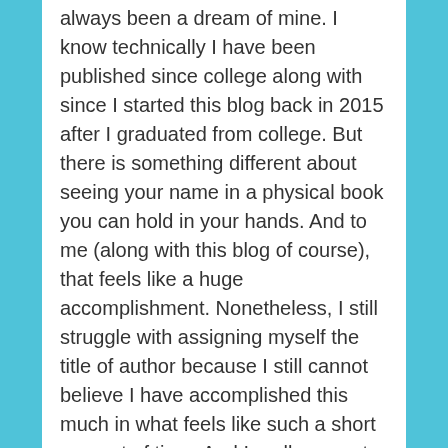always been a dream of mine. I know technically I have been published since college along with since I started this blog back in 2015 after I graduated from college. But there is something different about seeing your name in a physical book you can hold in your hands. And to me (along with this blog of course), that feels like a huge accomplishment. Nonetheless, I still struggle with assigning myself the title of author because I still cannot believe I have accomplished this much in what feels like such a short amount of time. And I really cannot wait to see where my writing will go from here, what other publications I will find myself contributing to in the near future.
SHARE THIS:
Twitter  Facebook